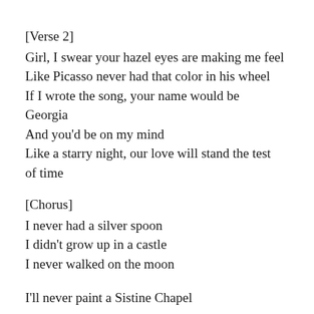[Verse 2]
Girl, I swear your hazel eyes are making me feel
Like Picasso never had that color in his wheel
If I wrote the song, your name would be
Georgia
And you'd be on my mind
Like a starry night, our love will stand the test
of time
[Chorus]
I never had a silver spoon
I didn't grow up in a castle
I never walked on the moon
I'll never paint a Sistine Chapel